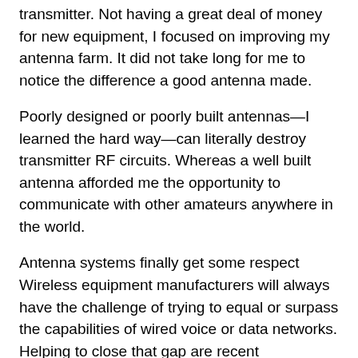transmitter. Not having a great deal of money for new equipment, I focused on improving my antenna farm. It did not take long for me to notice the difference a good antenna made.
Poorly designed or poorly built antennas—I learned the hard way—can literally destroy transmitter RF circuits. Whereas a well built antenna afforded me the opportunity to communicate with other amateurs anywhere in the world.
Antenna systems finally get some respect Wireless equipment manufacturers will always have the challenge of trying to equal or surpass the capabilities of wired voice or data networks. Helping to close that gap are recent innovations using multiple—same frequency—antenna systems.
Researchers and equipment manufacturers now understand that using MIMO antenna technology means